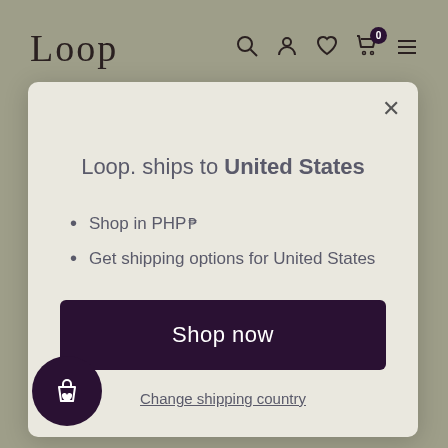Loop
Loop. ships to United States
Shop in PHP ₱
Get shipping options for United States
Shop now
Change shipping country